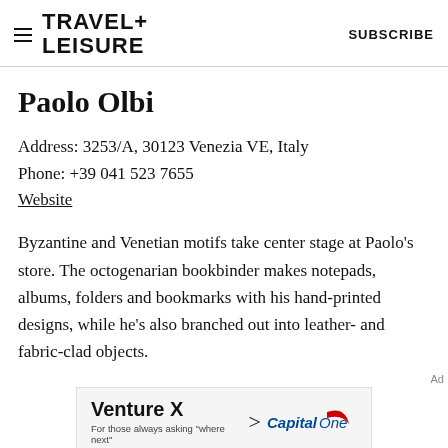TRAVEL+ LEISURE   SUBSCRIBE
Paolo Olbi
Address: 3253/A, 30123 Venezia VE, Italy
Phone: +39 041 523 7655
Website
Byzantine and Venetian motifs take center stage at Paolo's store. The octogenarian bookbinder makes notepads, albums, folders and bookmarks with his hand-printed designs, while he's also branched out into leather- and fabric-clad objects.
[Figure (other): Capital One Venture X advertisement banner with text 'Venture X > CapitalOne For those always asking where next']